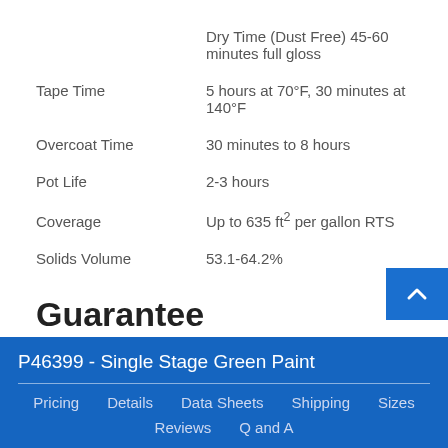Dry Time (Dust Free) 45-60 minutes full gloss
Tape Time: 5 hours at 70°F, 30 minutes at 140°F
Overcoat Time: 30 minutes to 8 hours
Pot Life: 2-3 hours
Coverage: Up to 635 ft² per gallon RTS
Solids Volume: 53.1-64.2%
Guarantee
P46399 - Single Stage Green Paint
Pricing · Details · Data Sheets · Shipping · Sizes · Reviews · Q and A